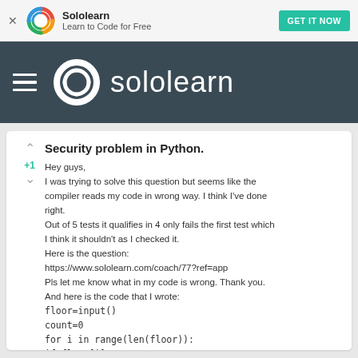[Figure (logo): Sololearn app advertisement banner with colorful swirl logo, 'Sololearn / Learn to Code for Free' text, and 'GET IT NOW' teal button]
[Figure (logo): Sololearn website navigation bar with dark background, hamburger menu, white swirl logo icon and 'sololearn' text]
Security problem in Python.
Hey guys,
I was trying to solve this question but seems like the compiler reads my code in wrong way. I think I've done right.
Out of 5 tests it qualifies in 4 only fails the first test which I think it shouldn't as I checked it.
Here is the question:
https://www.sololearn.com/coach/77?ref=app
Pls let me know what in my code is wrong. Thank you.
And here is the code that I wrote:
floor=input()
count=0
for i in range(len(floor)):
if floor[i]=='x':